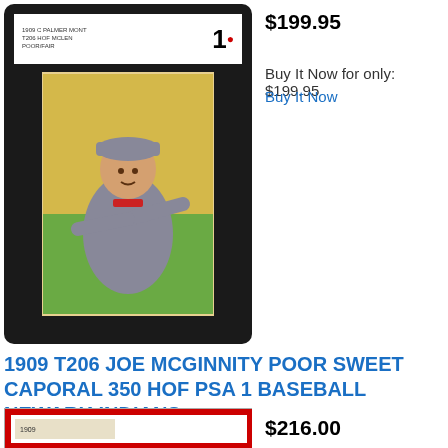[Figure (photo): SGC graded baseball card in black holder showing 1909 T206 baseball card with player image, grade label showing '1' with red dot]
$199.95
Buy It Now for only: $199.95
Buy It Now
1909 T206 JOE MCGINNITY POOR SWEET CAPORAL 350 HOF PSA 1 BASEBALL NEWARK INDIANS
$216.00
[Figure (photo): Partial view of another graded baseball card with red border holder]